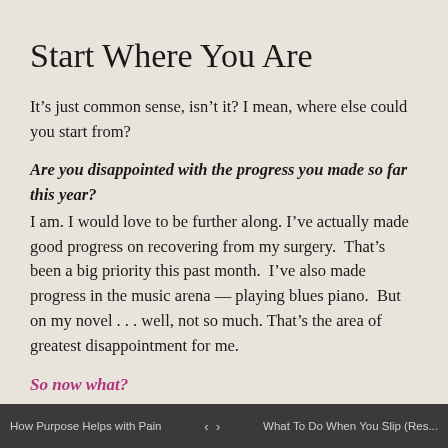Start Where You Are
It’s just common sense, isn’t it? I mean, where else could you start from?
Are you disappointed with the progress you made so far this year?
I am. I would love to be further along. I’ve actually made good progress on recovering from my surgery.  That’s been a big priority this past month.  I’ve also made progress in the music arena — playing blues piano.  But on my novel . . . well, not so much. That’s the area of greatest disappointment for me.
So now what?
Well, I could languish in that feeling of disappointment.
How Purpose Helps with Pain  ‹  ›  What To Do When You Slip (Res...